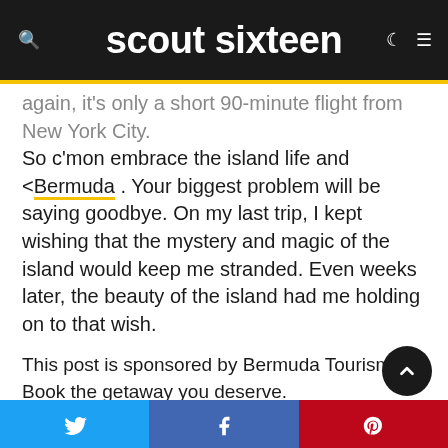scout sixteen
again, it's only a short 90-minute flight from New York City. So c'mon embrace the island life and <Bermuda . Your biggest problem will be saying goodbye. On my last trip, I kept wishing that the mystery and magic of the island would keep me stranded. Even weeks later, the beauty of the island had me holding on to that wish.
This post is sponsored by Bermuda Tourism. Book the getaway you deserve.
Twitter | Facebook | Pinterest